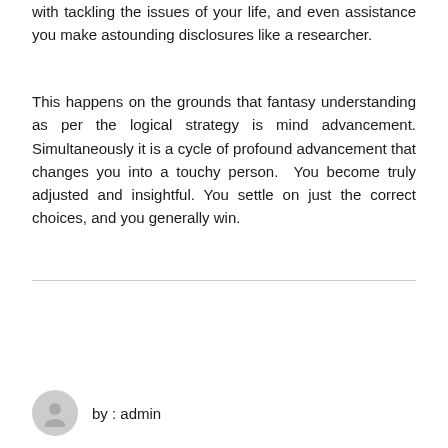with tackling the issues of your life, and even assistance you make astounding disclosures like a researcher.
This happens on the grounds that fantasy understanding as per the logical strategy is mind advancement. Simultaneously it is a cycle of profound advancement that changes you into a touchy person. You become truly adjusted and insightful. You settle on just the correct choices, and you generally win.
by : admin